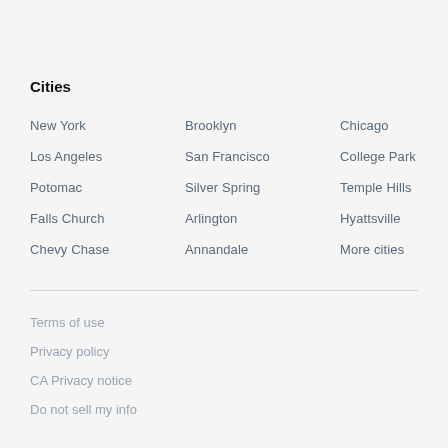Cities
New York
Brooklyn
Chicago
Los Angeles
San Francisco
College Park
Potomac
Silver Spring
Temple Hills
Falls Church
Arlington
Hyattsville
Chevy Chase
Annandale
More cities
Terms of use
Privacy policy
CA Privacy notice
Do not sell my info